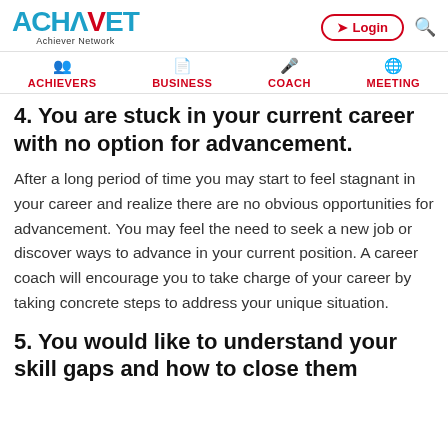ACHNET Achiever Network — Login — Search
ACHIEVERS | BUSINESS | COACH | MEETING
4. You are stuck in your current career with no option for advancement.
After a long period of time you may start to feel stagnant in your career and realize there are no obvious opportunities for advancement. You may feel the need to seek a new job or discover ways to advance in your current position. A career coach will encourage you to take charge of your career by taking concrete steps to address your unique situation.
5. You would like to understand your skill gaps and how to close them